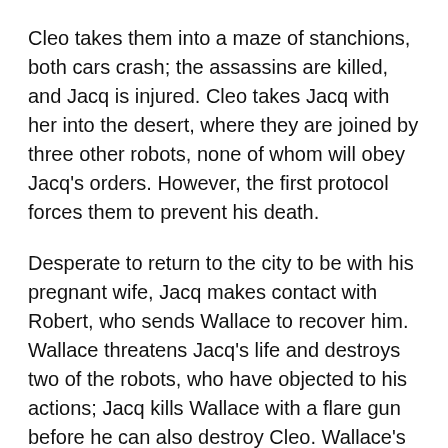Cleo takes them into a maze of stanchions, both cars crash; the assassins are killed, and Jacq is injured. Cleo takes Jacq with her into the desert, where they are joined by three other robots, none of whom will obey Jacq's orders. However, the first protocol forces them to prevent his death.
Desperate to return to the city to be with his pregnant wife, Jacq makes contact with Robert, who sends Wallace to recover him. Wallace threatens Jacq's life and destroys two of the robots, who have objected to his actions; Jacq kills Wallace with a flare gun before he can also destroy Cleo. Wallace's partner flees after taking a battery from one of the robots.
Robert's boss discloses that the predecessor to